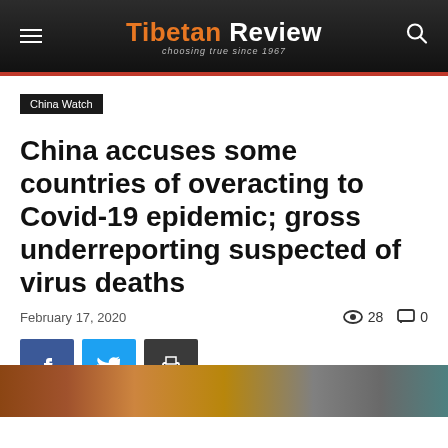Tibetan Review
China Watch
China accuses some countries of overacting to Covid-19 epidemic; gross underreporting suspected of virus deaths
February 17, 2020   👁 28   💬 0
[Figure (other): Social share buttons: Facebook (f), Twitter (bird), Print (printer icon)]
[Figure (photo): Partial bottom strip of a news article photo, appears to be a scene with people or a public setting]